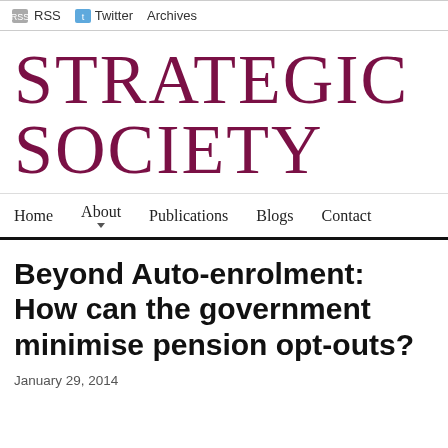RSS  Twitter  Archives
STRATEGIC SOCIETY
Home  About  Publications  Blogs  Contact
Beyond Auto-enrolment: How can the government minimise pension opt-outs?
January 29, 2014